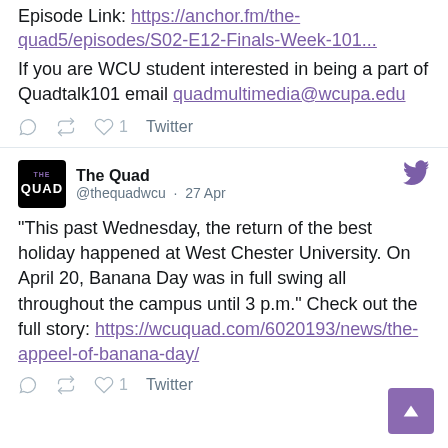Episode Link: https://anchor.fm/the-quad5/episodes/S02-E12-Finals-Week-101...
If you are WCU student interested in being a part of Quadtalk101 email quadmultimedia@wcupa.edu
Reply Retweet Like 1 Twitter
The Quad @thequadwcu · 27 Apr
"This past Wednesday, the return of the best holiday happened at West Chester University. On April 20, Banana Day was in full swing all throughout the campus until 3 p.m." Check out the full story: https://wcuquad.com/6020193/news/the-appeel-of-banana-day/
Reply Retweet Like 1 Twitter